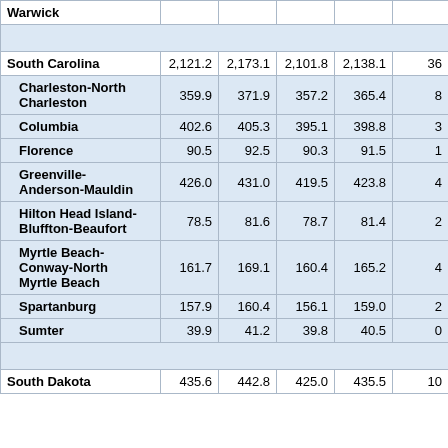| Area | Col1 | Col2 | Col3 | Col4 | Col5 |
| --- | --- | --- | --- | --- | --- |
| Warwick |  |  |  |  |  |
|  |  |  |  |  |  |
| South Carolina | 2,121.2 | 2,173.1 | 2,101.8 | 2,138.1 | 36 |
| Charleston-North Charleston | 359.9 | 371.9 | 357.2 | 365.4 | 8 |
| Columbia | 402.6 | 405.3 | 395.1 | 398.8 | 3 |
| Florence | 90.5 | 92.5 | 90.3 | 91.5 | 1 |
| Greenville-Anderson-Mauldin | 426.0 | 431.0 | 419.5 | 423.8 | 4 |
| Hilton Head Island-Bluffton-Beaufort | 78.5 | 81.6 | 78.7 | 81.4 | 2 |
| Myrtle Beach-Conway-North Myrtle Beach | 161.7 | 169.1 | 160.4 | 165.2 | 4 |
| Spartanburg | 157.9 | 160.4 | 156.1 | 159.0 | 2 |
| Sumter | 39.9 | 41.2 | 39.8 | 40.5 | 0 |
|  |  |  |  |  |  |
| South Dakota | 435.6 | 442.8 | 425.0 | 435.5 | 10 |